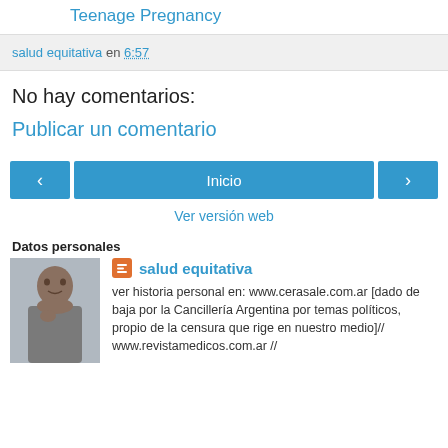Teenage Pregnancy
salud equitativa en 6:57
No hay comentarios:
Publicar un comentario
Inicio
Ver versión web
Datos personales
salud equitativa
ver historia personal en: www.cerasale.com.ar [dado de baja por la Cancillería Argentina por temas políticos, propio de la censura que rige en nuestro medio]// www.revistamedicos.com.ar //